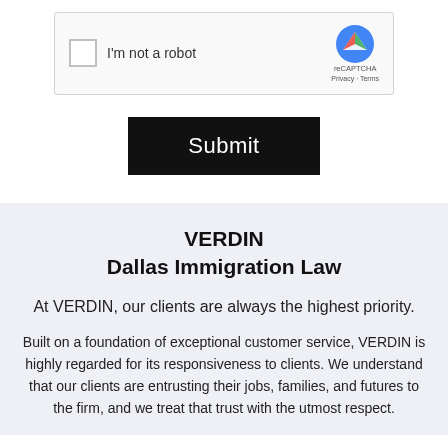[Figure (screenshot): reCAPTCHA widget with checkbox labeled 'I'm not a robot' and reCAPTCHA logo with Privacy and Terms links]
[Figure (screenshot): Black Submit button]
VERDIN
Dallas Immigration Law
At VERDIN, our clients are always the highest priority.
Built on a foundation of exceptional customer service, VERDIN is highly regarded for its responsiveness to clients. We understand that our clients are entrusting their jobs, families, and futures to the firm, and we treat that trust with the utmost respect.